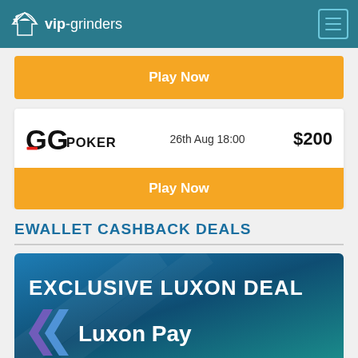vip-grinders
Play Now
| Brand | Date | Amount |
| --- | --- | --- |
| GGPoker | 26th Aug 18:00 | $200 |
Play Now
EWALLET CASHBACK DEALS
[Figure (illustration): Exclusive Luxon Deal banner with Luxon Pay logo on teal/blue gradient background]